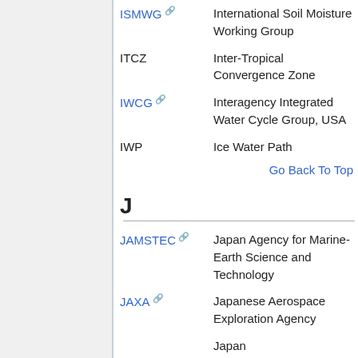| Abbreviation | Definition |
| --- | --- |
| ISMWG | International Soil Moisture Working Group |
| ITCZ | Inter-Tropical Convergence Zone |
| IWCG | Interagency Integrated Water Cycle Group, USA |
| IWP | Ice Water Path |
Go Back To Top
J
| Abbreviation | Definition |
| --- | --- |
| JAMSTEC | Japan Agency for Marine-Earth Science and Technology |
| JAXA | Japanese Aerospace Exploration Agency |
|  | Japan |